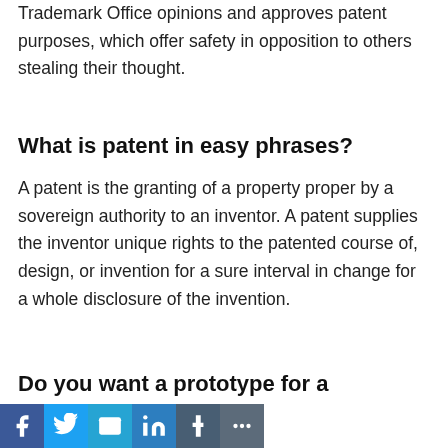Trademark Office opinions and approves patent purposes, which offer safety in opposition to others stealing their thought.
What is patent in easy phrases?
A patent is the granting of a property proper by a sovereign authority to an inventor. A patent supplies the inventor unique rights to the patented course of, design, or invention for a sure interval in change for a whole disclosure of the invention.
Do you want a prototype for a patent?
[Figure (other): Social sharing bar with Facebook, Twitter, Email, LinkedIn, Tumblr, and More buttons]